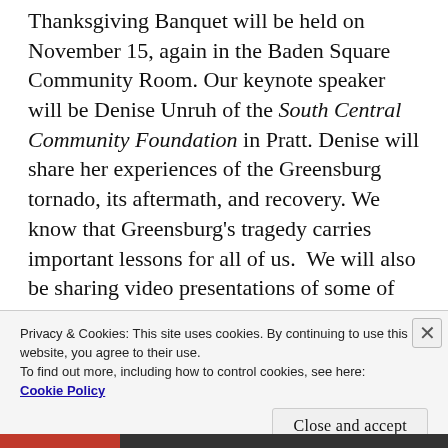Thanksgiving Banquet will be held on November 15, again in the Baden Square Community Room. Our keynote speaker will be Denise Unruh of the South Central Community Foundation in Pratt. Denise will share her experiences of the Greensburg tornado, its aftermath, and recovery. We know that Greensburg's tragedy carries important lessons for all of us.  We will also be sharing video presentations of some of the work that Legacy Regional Community Foundation is advancing in our area.  Watch for your invitation, or call us for more information.  mh
Privacy & Cookies: This site uses cookies. By continuing to use this website, you agree to their use. To find out more, including how to control cookies, see here: Cookie Policy
Close and accept